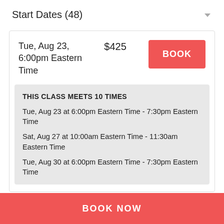Start Dates (48)
Tue, Aug 23,
6:00pm Eastern
Time
$425
BOOK
THIS CLASS MEETS 10 TIMES
Tue, Aug 23 at 6:00pm Eastern Time - 7:30pm Eastern Time
Sat, Aug 27 at 10:00am Eastern Time - 11:30am Eastern Time
Tue, Aug 30 at 6:00pm Eastern Time - 7:30pm Eastern Time
BOOK NOW